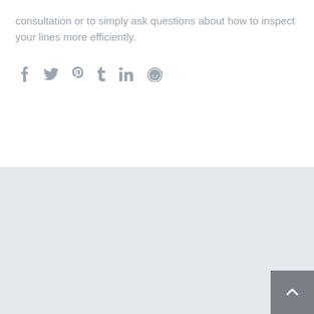consultation or to simply ask questions about how to inspect your lines more efficiently.
[Figure (other): Social sharing icons row: Facebook (f), Twitter (bird), Pinterest (P), Tumblr (t), LinkedIn (in), Reddit (alien head)]
[Figure (other): Light grey footer background area with a dark grey back-to-top button in the bottom-right corner containing an upward chevron/caret arrow.]